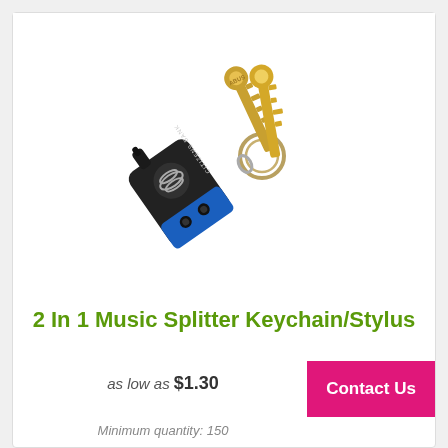[Figure (photo): Product photo of a 2-in-1 music splitter keychain/stylus. A small black and blue audio splitter adapter with a Citizens Bank logo on it, attached to a keyring with two gold keys.]
2 In 1 Music Splitter Keychain/Stylus
as low as $1.30
Contact Us
Minimum quantity: 150